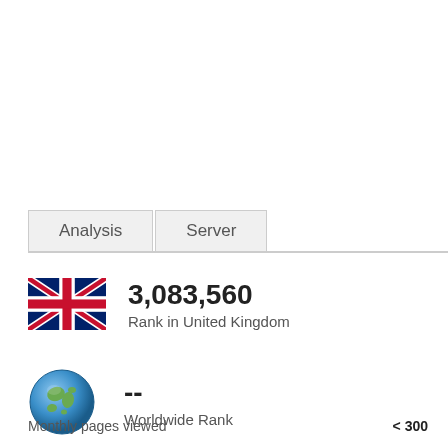Analysis | Server
3,083,560
Rank in United Kingdom
--
Worldwide Rank
Monthly pages viewed    < 300